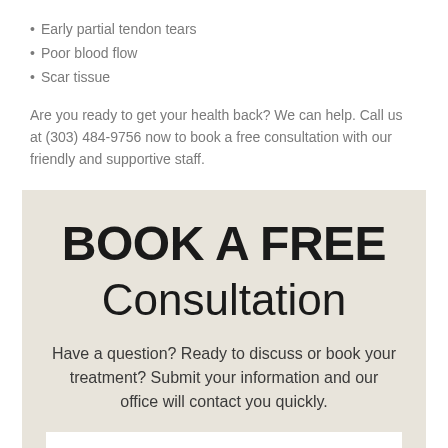Early partial tendon tears
Poor blood flow
Scar tissue
Are you ready to get your health back? We can help. Call us at (303) 484-9756 now to book a free consultation with our friendly and supportive staff.
BOOK A FREE Consultation
Have a question? Ready to discuss or book your treatment? Submit your information and our office will contact you quickly.